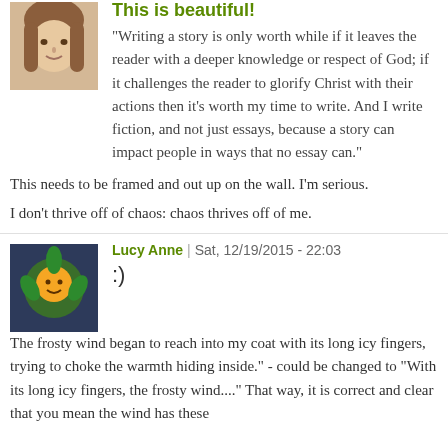This is beautiful!
"Writing a story is only worth while if it leaves the reader with a deeper knowledge or respect of God; if it challenges the reader to glorify Christ with their actions then it's worth my time to write. And I write fiction, and not just essays, because a story can impact people in ways that no essay can."
This needs to be framed and out up on the wall. I'm serious.
I don't thrive off of chaos: chaos thrives off of me.
Lucy Anne | Sat, 12/19/2015 - 22:03
:)
The frosty wind began to reach into my coat with its long icy fingers, trying to choke the warmth hiding inside." - could be changed to "With its long icy fingers, the frosty wind...." That way, it is correct and clear that you mean the wind has these